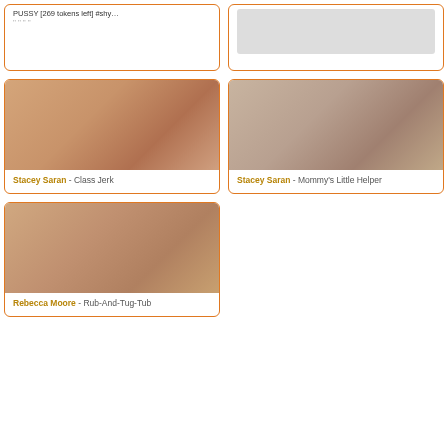PUSSY [269 tokens left] #shy...
[Figure (photo): Placeholder image top right card]
[Figure (photo): Stacey Saran - Class Jerk photo]
Stacey Saran - Class Jerk
[Figure (photo): Stacey Saran - Mommy's Little Helper photo]
Stacey Saran - Mommy's Little Helper
[Figure (photo): Rebecca Moore - Rub-And-Tug-Tub photo]
Rebecca Moore - Rub-And-Tug-Tub